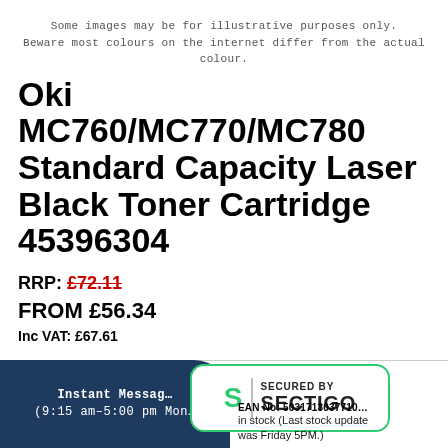Some images may be for illustrative purposes only.
Beware most colours on the internet differ from the actual colour.
Oki MC760/MC770/MC780 Standard Capacity Laser Black Toner Cartridge 45396304
RRP: £72.11
FROM £56.34
Inc VAT: £67.61
Instant Message (9:15 am-5:00 pm Mon...
[Figure (logo): Sectigo security badge with green S logo and text SECURED BY SECTIGO]
EAN No: 5031713037710 ... In stock (Last stock update was Friday 5PM.)